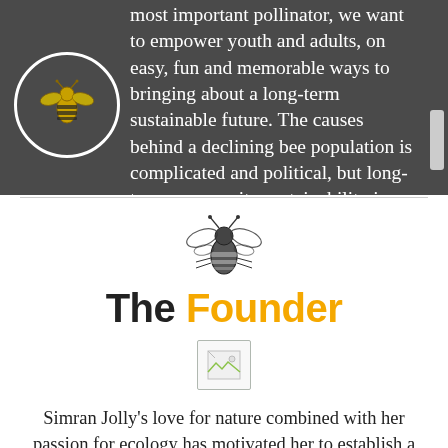most important pollinator, we want to empower youth and adults, on easy, fun and memorable ways to bringing about a long-term sustainable future. The causes behind a declining bee population is complicated and political, but long-term community sustainability is within reach.
[Figure (logo): Circular logo with a golden bee illustration on dark background]
[Figure (illustration): Black and white line drawing of a bee, centered]
The Founder
[Figure (photo): Broken image placeholder icon]
Simran Jolly's love for nature combined with her passion for ecology has motivated her to establish a social enterprise with a mission to increase the population of endangered pollinator species. After reading an article about Colony Collapse Disorder